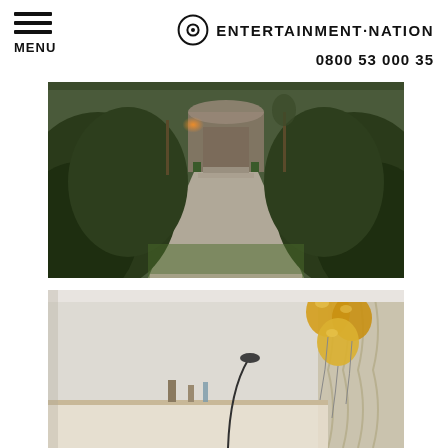MENU | ENTERTAINMENT·NATION 0800 53 000 35
[Figure (photo): Garden pathway flanked by large dark hedges leading to a building entrance with steps, warm sunset light in background, gravel path]
[Figure (photo): Interior room with light grey wallpaper, gold metallic balloons clustered near a draped curtain, bar or counter setup visible]